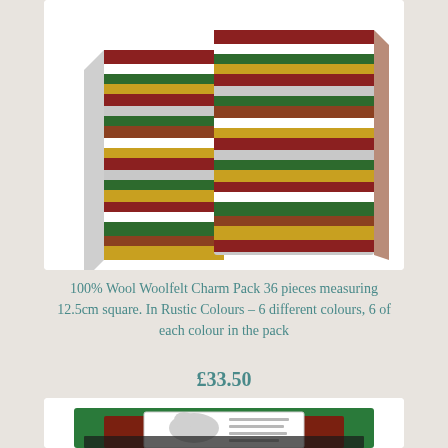[Figure (photo): Stack of multicolored striped woolfelt charm pack squares in rustic colours (red, green, yellow, brown, grey, white stripes), photographed against a white background]
100% Wool Woolfelt Charm Pack 36 pieces measuring 12.5cm square. In Rustic Colours – 6 different colours, 6 of each colour in the pack
£33.50
[Figure (photo): Partially visible woolfelt pack with green fabric and a label showing a sheep, displayed at the bottom of the page]